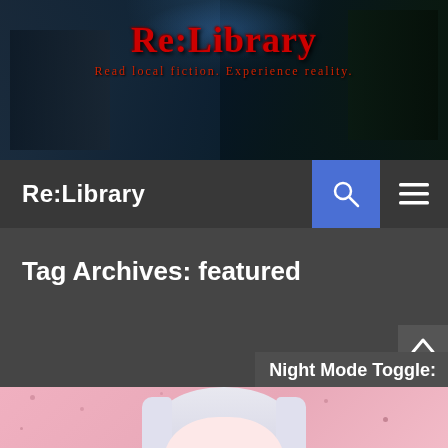[Figure (illustration): Re:Library website banner with fantasy library background, site logo text 'Re:Library' in red gothic font, subtitle text below]
Re:Library
Tag Archives: featured
Night Mode Toggle:
[Figure (screenshot): Anime character with white/silver hair and red eyes on pink starry background, cropped to show face/upper body]